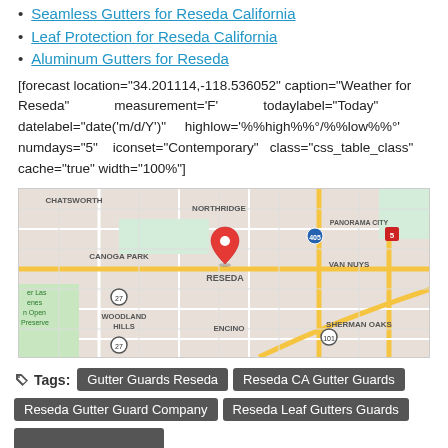Seamless Gutters for Reseda California
Leaf Protection for Reseda California
Aluminum Gutters for Reseda
[forecast location="34.201114,-118.536052" caption="Weather for Reseda" measurement='F' todaylabel="Today" datelabel="date('m/d/Y')" highlow='%%high%%°/%%low%%°' numdays="5" iconset="Contemporary" class="css_table_class" cache="true" width="100%"]
[Figure (map): Google map showing Reseda, California area with surrounding neighborhoods including Chatsworth, Northridge, Canoga Park, Panorama City, Van Nuys, Woodland Hills, Encino, Sherman Oaks. A red location pin marks Reseda at the center. Highways 405, 5, 27, and 101 are visible.]
Tags: Gutter Guards Reseda | Reseda CA Gutter Guards | Reseda Gutter Guard Company | Reseda Leaf Gutters Guards